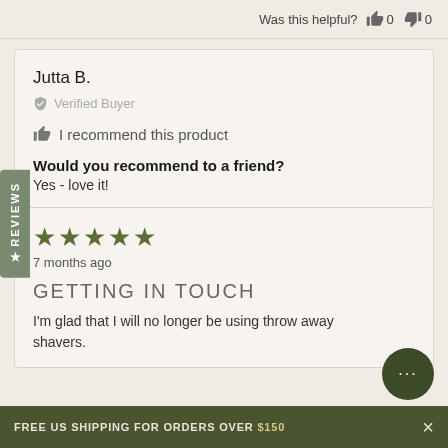Was this helpful? 👍 0 👎 0
Jutta B.
Verified Buyer
I recommend this product
Would you recommend to a friend?
Yes - love it!
★★★★★ 7 months ago
GETTING IN TOUCH
I'm glad that I will no longer be using throw away shavers.
FREE US SHIPPING FOR ORDERS OVER $150